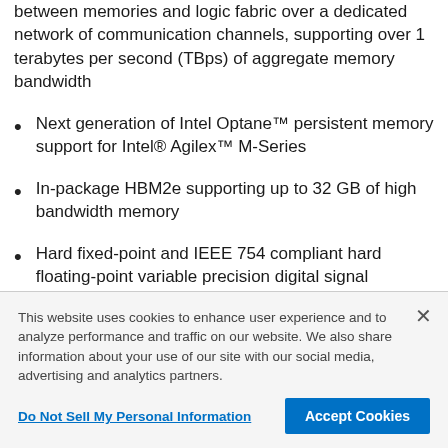between memories and logic fabric over a dedicated network of communication channels, supporting over 1 terabytes per second (TBps) of aggregate memory bandwidth
Next generation of Intel Optane™ persistent memory support for Intel® Agilex™ M-Series
In-package HBM2e supporting up to 32 GB of high bandwidth memory
Hard fixed-point and IEEE 754 compliant hard floating-point variable precision digital signal processing (DSP) blocks providing up to 40 TFLOPS of FP16 or BFLOAT16 compute performance
This website uses cookies to enhance user experience and to analyze performance and traffic on our website. We also share information about your use of our site with our social media, advertising and analytics partners.
Do Not Sell My Personal Information
Accept Cookies